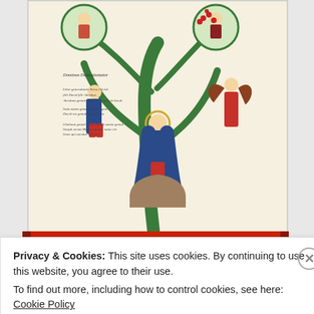[Figure (illustration): Medieval illuminated manuscript illustration of the Tree of Jesse, showing biblical figures, an angel, and Latin inscriptions on a parchment-colored background with decorative green tree branches.]
Tree of Jesse
Privacy & Cookies: This site uses cookies. By continuing to use this website, you agree to their use.
To find out more, including how to control cookies, see here: Cookie Policy